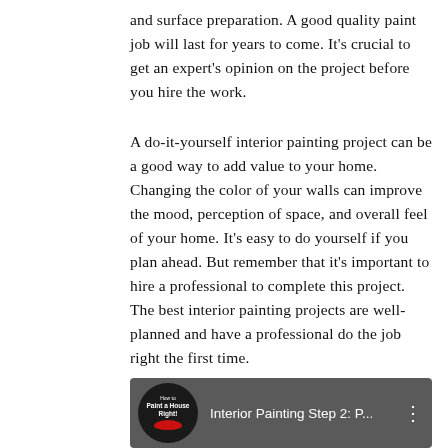and surface preparation. A good quality paint job will last for years to come. It's crucial to get an expert's opinion on the project before you hire the work.
A do-it-yourself interior painting project can be a good way to add value to your home. Changing the color of your walls can improve the mood, perception of space, and overall feel of your home. It's easy to do yourself if you plan ahead. But remember that it's important to hire a professional to complete this project. The best interior painting projects are well-planned and have a professional do the job right the first time.
[Figure (screenshot): YouTube video thumbnail showing 'Interior Painting Step 2: P...' with a circular logo reading 'How to Paint a House Right!' with a red lips/brush icon, on a dark background.]